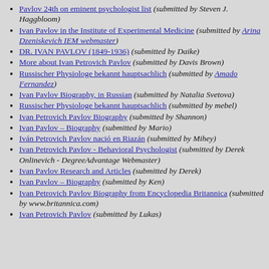Pavlov 24th on eminent psychologist list (submitted by Steven J. Haggbloom)
Ivan Pavlov in the Institute of Experimental Medicine (submitted by Arina Dzeniskevich IEM webmaster)
DR. IVAN PAVLOV (1849-1936) (submitted by Daike)
More about Ivan Petrovich Pavlov (submitted by Davis Brown)
Russischer Physiologe bekannt hauptsachlich (submitted by Amado Fernandez)
Ivan Pavlov Biography, in Russian (submitted by Natalia Svetova)
Russischer Physiologe bekannt hauptsachlich (submitted by mebel)
Ivan Petrovich Pavlov Biography (submitted by Shannon)
Ivan Pavlov – Biography (submitted by Mario)
Iván Petrovich Pavlov nació en Riazán (submitted by Mihey)
Ivan Petrovich Pavlov - Behavioral Psychologist (submitted by Derek Onlinevich - DegreeAdvantage Webmaster)
Ivan Pavlov Research and Articles (submitted by Derek)
Ivan Pavlov – Biography (submitted by Ken)
Ivan Petrovich Pavlov Biography from Encyclopedia Britannica (submitted by www.britannica.com)
Ivan Petrovich Pavlov (submitted by Lukas)